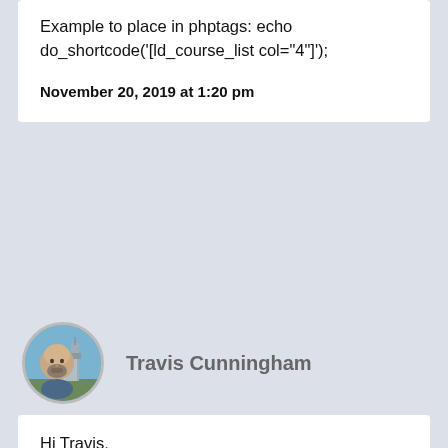Example to place in phptags: echo do_shortcode('[ld_course_list col="4"]');
November 20, 2019 at 1:20 pm
Travis Cunningham
[Figure (photo): Circular avatar photo of Travis Cunningham, a bald man with a beard, outdoors with a tower in the background]
Hi Travis,

How would you replicate the course_list_template.php to build a custom template similar to courses list, to apply for a job list for example?
I've duplicated the